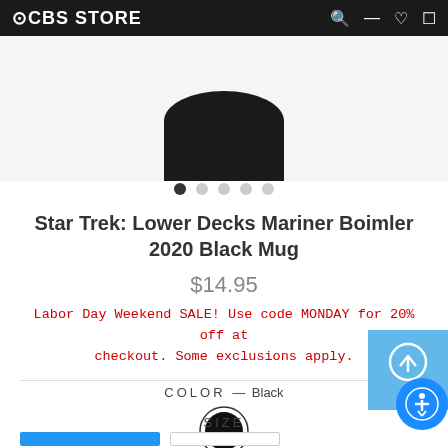CBS STORE
[Figure (photo): Bottom portion of a black mug visible at top of product image area against light gray background]
[Figure (other): Carousel navigation dots: first dot filled/active (black), four remaining dots gray]
Star Trek: Lower Decks Mariner Boimler 2020 Black Mug
$14.95
Labor Day Weekend SALE! Use code MONDAY for 20% off at checkout. Some exclusions apply.
COLOR — Black
[Figure (other): Black filled circle color swatch with thin border ring indicating selected color Black]
SIZE
[Figure (other): Two size selection buttons: first button filled blue (selected size), second button outlined/unselected]
[Figure (other): Blue accessibility/scroll-up button panel on right edge showing upward arrow icon and accessibility circle icon]